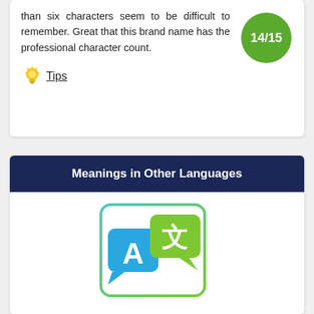than six characters seem to be difficult to remember. Great that this brand name has the professional character count.
[Figure (infographic): Green circle score badge showing 14/15]
💡 Tips
Meanings in Other Languages
[Figure (illustration): Translation icon showing letter A in blue speech bubble and Chinese character in green speech bubble, inside a rounded rectangle with teal/green border]